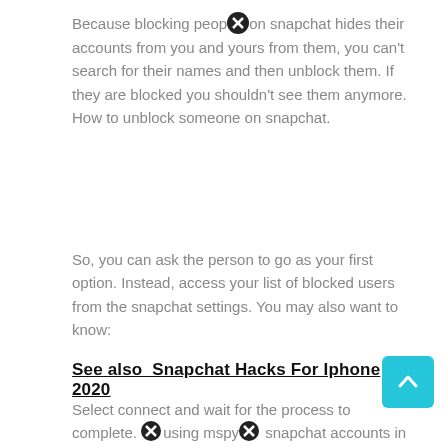Because blocking people on snapchat hides their accounts from you and yours from them, you can't search for their names and then unblock them. If they are blocked you shouldn't see them anymore. How to unblock someone on snapchat.
So, you can ask the person to go as your first option. Instead, access your list of blocked users from the snapchat settings. You may also want to know:
See also  Snapchat Hacks For Iphone 2020
Select connect and wait for the process to complete. ⓧusing mspyⓧ snapchat accounts in a stealth mode. How to log into someone's snapchat without logging them out method 2.